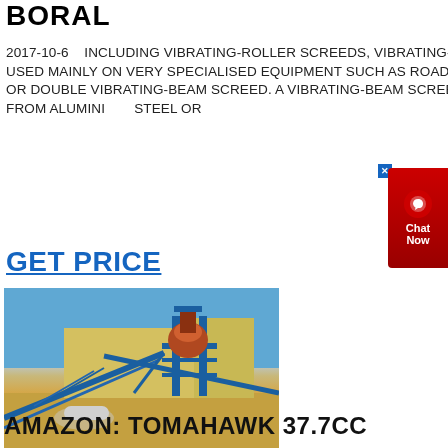BORAL
2017-10-6    INCLUDING VIBRATING-ROLLER SCREEDS, VIBRATING-BEAM SCREEDS AND PAN-TYPE VIBRATORS WHICH ARE USED MAINLY ON VERY SPECIALISED EQUIPMENT SUCH AS ROAD PAVING PLANT. THE MOST COMMON TYPE IS THE SINGLE OR DOUBLE VIBRATING-BEAM SCREED. A VIBRATING-BEAM SCREED CONSISTS OF EITHER ONE OR TWO BEAMS, MADE FROM ALUMINIUM, STEEL OR
GET PRICE
[Figure (photo): Industrial facility with blue steel conveyor belts and a large mixing/processing tower structure in a desert environment with sandy ground and yellow industrial building in background.]
AMAZON: TOMAHAWK 37.7CC